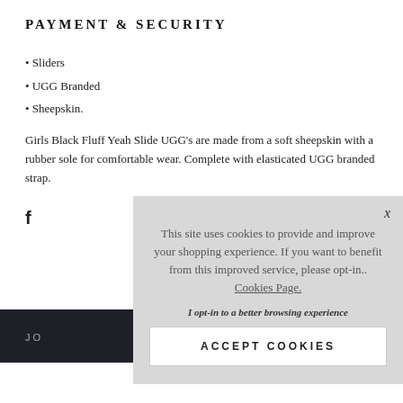PAYMENT & SECURITY
• Sliders
• UGG Branded
• Sheepskin.
Girls Black Fluff Yeah Slide UGG's are made from a soft sheepskin with a rubber sole for comfortable wear. Complete with elasticated UGG branded strap.
[Figure (screenshot): Cookie consent overlay with close button X, message about cookies, Cookies Page link, opt-in text, and ACCEPT COOKIES button]
f
JO